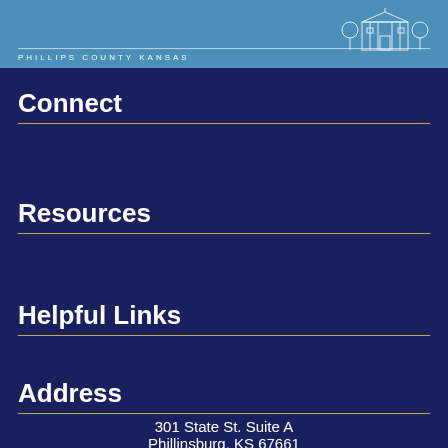PHILLIPS COUNTY KANSAS
Connect
Resources
Helpful Links
Address
301 State St. Suite A
Phillinsburg, KS 67661